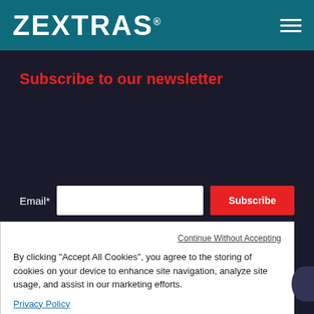[Figure (logo): ZEXTRAS logo in white on teal background header with hamburger menu icon]
Subscribe to our newsletter
Email*
Subscribe
Continue Without Accepting
By clicking "Accept All Cookies", you agree to the storing of cookies on your device to enhance site navigation, analyze site usage, and assist in our marketing efforts.
Privacy Policy
Accept All Cookies